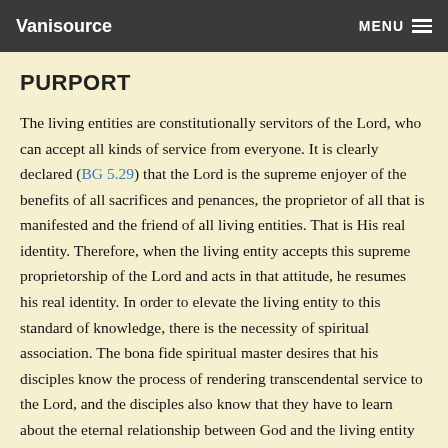Vanisource   MENU
PURPORT
The living entities are constitutionally servitors of the Lord, who can accept all kinds of service from everyone. It is clearly declared (BG 5.29) that the Lord is the supreme enjoyer of the benefits of all sacrifices and penances, the proprietor of all that is manifested and the friend of all living entities. That is His real identity. Therefore, when the living entity accepts this supreme proprietorship of the Lord and acts in that attitude, he resumes his real identity. In order to elevate the living entity to this standard of knowledge, there is the necessity of spiritual association. The bona fide spiritual master desires that his disciples know the process of rendering transcendental service to the Lord, and the disciples also know that they have to learn about the eternal relationship between God and the living entity